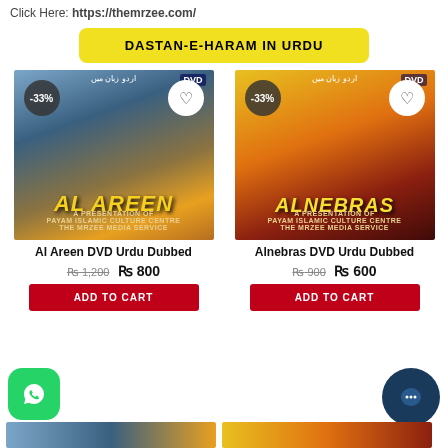Click Here: https://themrzee.com/
DASTAN-E-HARAM IN URDU
[Figure (photo): Al Areen DVD Urdu Dubbed product image with -33% badge and heart icon, mosque backdrop with golden text AL AREEN, tagline A PRESENTATION OF PAYAM ISLAMIC CULTURE CENTRE THE MRZEE MEDIA SERVICE]
[Figure (photo): Alnebras DVD Urdu Dubbed product image with -33% badge and heart icon, horse silhouette on yellow/red background with text ALNEBRAS, tagline A PRESENTATION OF PAYAM ISLAMIC CULTURE CENTRE THE MRZEE MEDIA SERVICE]
Al Areen DVD Urdu Dubbed
Alnebras DVD Urdu Dubbed
Rs 1,200 Rs 800
Rs 900 Rs 600
ADD TO CART
ADD TO CART